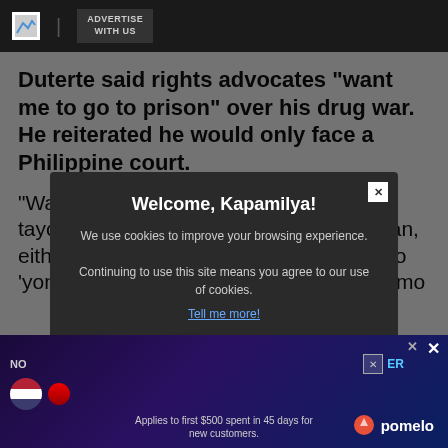ADVERTISE WITH US
Duterte said rights advocates "want me to go to prison" over his drug war. He reiterated he would only face a Philippine court.
"Wala man tayong problema na meron tayong mga kasalanan. Admitted man 'yan, either intentionally or unintentionally. Pero 'yong sa droga, hindi 'yan talaga sabihin mo
[Figure (screenshot): Cookie consent modal overlay on dark background. Title: 'Welcome, Kapamilya!' Body: 'We use cookies to improve your browsing experience. Continuing to use this site means you agree to our use of cookies.' Link: 'Tell me more!' Button: 'I AGREE!']
[Figure (screenshot): Bottom advertisement banner with Pomelo branding, US flag icon, disclaimer text 'Applies to first $500 spent in 45 days for new customers.']